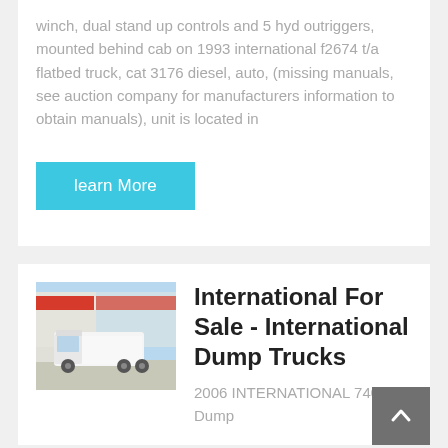winch, dual stand up controls and 5 hyd outriggers, mounted behind cab on 1993 international f2674 t/a flatbed truck, cat 3176 diesel, auto, (missing manuals, see auction company for manufacturers information to obtain manuals), unit is located in
learn More
[Figure (photo): White semi truck / tractor cab parked in front of a building with red signage]
International For Sale - International Dump Trucks
2006 INTERNATIONAL 7400 Dump